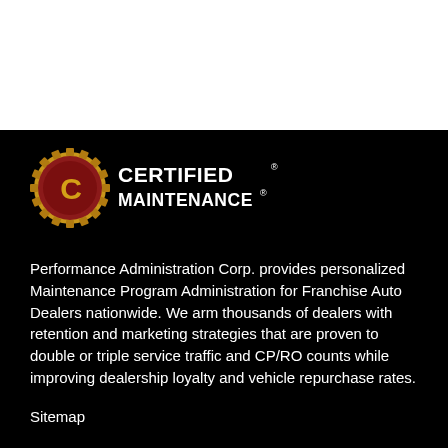[Figure (logo): Certified Maintenance logo: a red and gold gear/seal badge with a stylized C on the left, and bold white text reading CERTIFIED MAINTENANCE on a black background to the right]
Performance Administration Corp. provides personalized Maintenance Program Administration for Franchise Auto Dealers nationwide. We arm thousands of dealers with retention and marketing strategies that are proven to double or triple service traffic and CP/RO counts while improving dealership loyalty and vehicle repurchase rates.
Sitemap